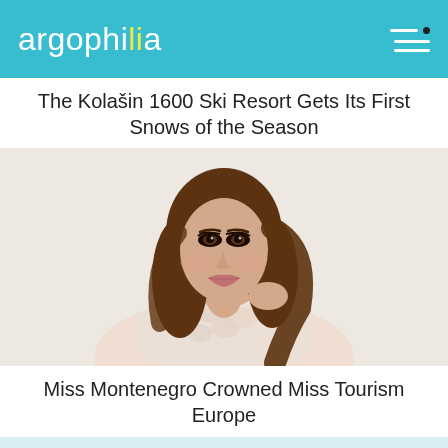argophilia
The Kolašin 1600 Ski Resort Gets Its First Snows of the Season
[Figure (photo): Portrait photo of a young woman with long brown hair in an elegant lace dress, posed with hand near her chin]
Miss Montenegro Crowned Miss Tourism Europe
[Figure (photo): Scenic photo of people on a sailboat with mountainous coastline in the background and misty blue water]